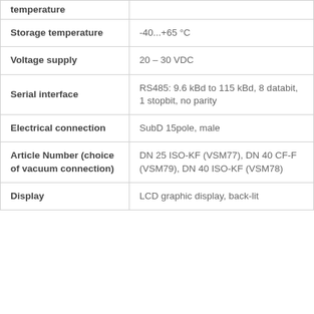| Parameter | Value |
| --- | --- |
| temperature |  |
| Storage temperature | -40...+65 °C |
| Voltage supply | 20 – 30 VDC |
| Serial interface | RS485: 9.6 kBd to 115 kBd, 8 databit, 1 stopbit, no parity |
| Electrical connection | SubD 15pole, male |
| Article Number (choice of vacuum connection) | DN 25 ISO-KF (VSM77), DN 40 CF-F (VSM79), DN 40 ISO-KF (VSM78) |
| Display | LCD graphic display, back-lit |